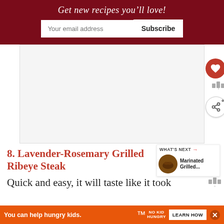Get new recipes you'll love!
[Figure (screenshot): Email subscription widget with text input 'Your email address' and 'Subscribe' button on dark red background]
[Figure (photo): Large white/light gray placeholder image area for a recipe photo]
8. Lavender-Rosemary Grilled Ribeye Steak
[Figure (photo): Small circular thumbnail of Marinated Grilled steak next to WHAT'S NEXT label]
Quick and easy, it will taste like it took
[Figure (screenshot): Orange ad bar: 'You can help hungry kids.' with No Kid Hungry logo and 'LEARN HOW' button]